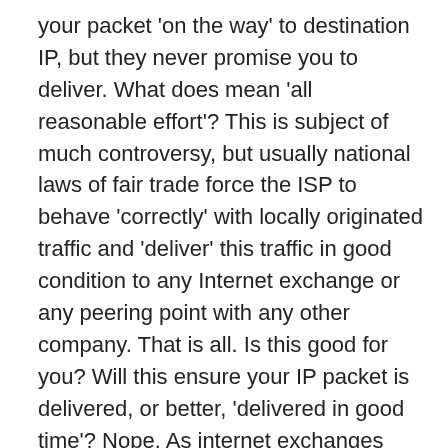your packet 'on the way' to destination IP, but they never promise you to deliver. What does mean 'all reasonable effort'? This is subject of much controversy, but usually national laws of fair trade force the ISP to behave 'correctly' with locally originated traffic and 'deliver' this traffic in good condition to any Internet exchange or any peering point with any other company. That is all. Is this good for you? Will this ensure your IP packet is delivered, or better, 'delivered in good time'? Nope. As internet exchanges and peering points may distract us from the focus of our discussion lets save these two concepts for a couple of paragraphs later. (See 6).
(NOTE: we will see later that Internet Service, not being end to end, is not currently under the legal denomination of 'Common Carrier', and that is extremely important for